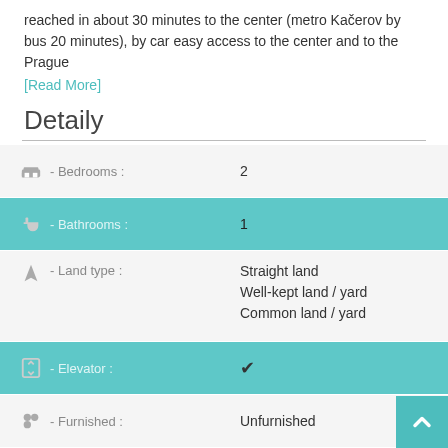reached in about 30 minutes to the center (metro Kačerov by bus 20 minutes), by car easy access to the center and to the Prague
[Read More]
Detaily
| Property | Value |
| --- | --- |
| Bedrooms : | 2 |
| Bathrooms : | 1 |
| Land type : | Straight land
Well-kept land / yard
Common land / yard |
| Elevator : | ✓ |
| Furnished : | Unfurnished |
| Storage space : | Chamber
Cellar space |
| Windows : | Plastic |